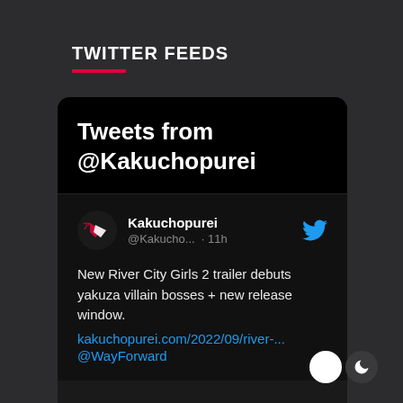TWITTER FEEDS
[Figure (screenshot): Twitter feed widget showing tweets from @Kakuchopurei account with a tweet about New River City Girls 2 trailer]
Tweets from @Kakuchopurei
Kakuchopurei @Kakucho... · 11h
New River City Girls 2 trailer debuts yakuza villain bosses + new release window. kakuchopurei.com/2022/09/river-... @WayForward